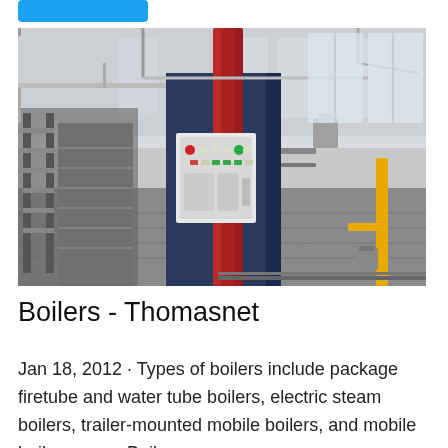[Figure (photo): Industrial boiler unit standing in a factory/warehouse setting. The boiler has a tall red cylindrical column in the center, a dark navy blue rectangular body with a control panel mounted on the front featuring various buttons and indicators, and is surrounded by industrial equipment and infrastructure. The warehouse has high ceilings with windows and metal beams. A yellow safety barrier is visible on the right side.]
Boilers - Thomasnet
Jan 18, 2012 · Types of boilers include package firetube and water tube boilers, electric steam boilers, trailer-mounted mobile boilers, and mobile boiler rooms. Boiler